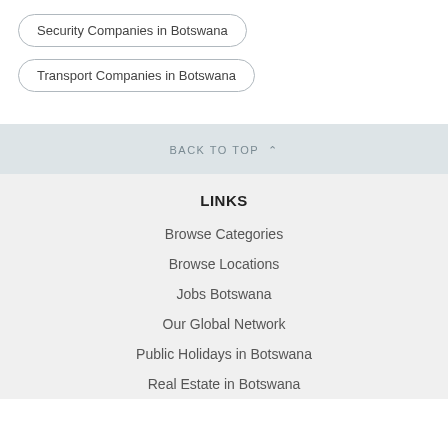Security Companies in Botswana
Transport Companies in Botswana
BACK TO TOP ˄
LINKS
Browse Categories
Browse Locations
Jobs Botswana
Our Global Network
Public Holidays in Botswana
Real Estate in Botswana